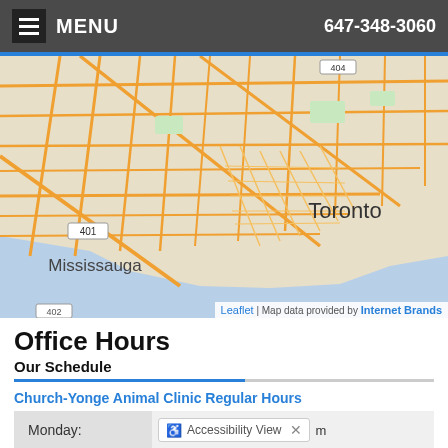MENU | 647-348-3060
[Figure (map): Street map showing Toronto area including Mississauga, with highway 401 and 404 visible. Lake Ontario visible at the bottom right. Map labels include Toronto and Mississauga.]
Leaflet | Map data provided by Internet Brands
Office Hours
Our Schedule
Church-Yonge Animal Clinic Regular Hours
| Day | Hours |
| --- | --- |
| Monday: | 10:00 am - 7:00 pm |